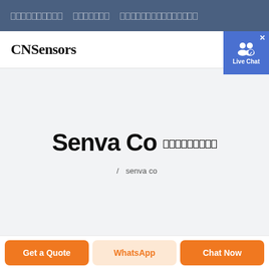[nav items with unrendered characters]
CNSensors
[Figure (illustration): Live Chat button with two user icons and a blue background with an X close button]
Senva Co [unrendered characters]
[breadcrumb link] / senva co [unrendered characters]
Get a Quote | WhatsApp | Chat Now